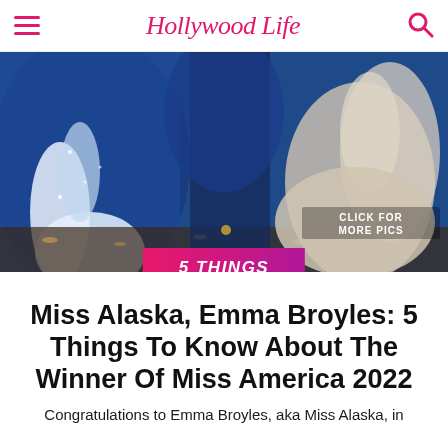Hollywood Life
[Figure (photo): Background photo showing pageant contestants in formal gowns (blue and white/champagne) on a stage with blue draping and scattered petals on the floor. A 'CLICK FOR MORE PICS' label appears at the bottom right of the image. A pink-to-purple gradient banner with '5 THINGS' in white italic bold text overlaps the bottom center of the image.]
Miss Alaska, Emma Broyles: 5 Things To Know About The Winner Of Miss America 2022
Congratulations to Emma Broyles, aka Miss Alaska, in